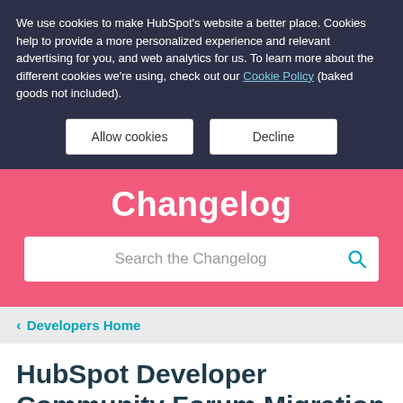We use cookies to make HubSpot's website a better place. Cookies help to provide a more personalized experience and relevant advertising for you, and web analytics for us. To learn more about the different cookies we're using, check out our Cookie Policy (baked goods not included).
Allow cookies | Decline
Changelog
Search the Changelog
< Developers Home
HubSpot Developer Community Forum Migration Announcement